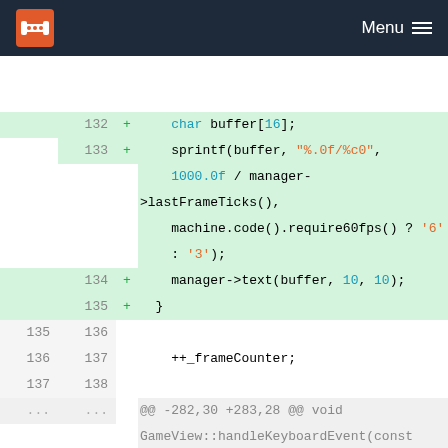Menu
[Figure (screenshot): Code diff view showing C++ source code changes. Added lines 132-135 with char buffer, sprintf, and manager->text calls. Context lines 135-137 with ++_frameCounter. Hunk header for GameView::handleKeyboardEvent. Lines 282-288 with manageKey, break, and new #if DESKTOP_MODE block.]